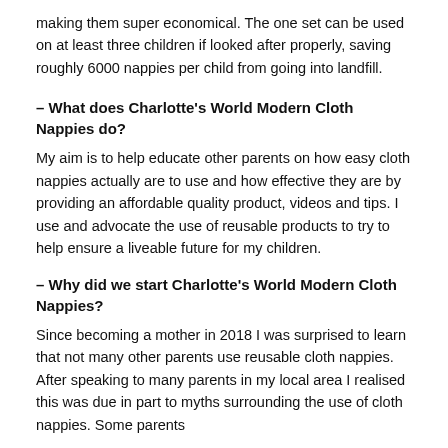making them super economical. The one set can be used on at least three children if looked after properly, saving roughly 6000 nappies per child from going into landfill.
– What does Charlotte's World Modern Cloth Nappies do?
My aim is to help educate other parents on how easy cloth nappies actually are to use and how effective they are by providing an affordable quality product, videos and tips. I use and advocate the use of reusable products to try to help ensure a liveable future for my children.
– Why did we start Charlotte's World Modern Cloth Nappies?
Since becoming a mother in 2018 I was surprised to learn that not many other parents use reusable cloth nappies. After speaking to many parents in my local area I realised this was due in part to myths surrounding the use of cloth nappies. Some parents